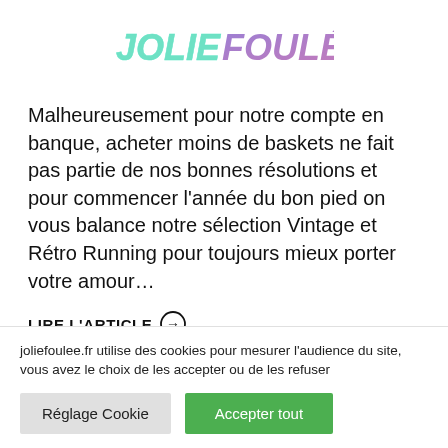[Figure (logo): Jolie Foulée logo with stylized italic text, 'JOLIE' in teal/mint and 'FOULÉE' in purple/pink gradient]
Malheureusement pour notre compte en banque, acheter moins de baskets ne fait pas partie de nos bonnes résolutions et pour commencer l'année du bon pied on vous balance notre sélection Vintage et Rétro Running pour toujours mieux porter votre amour…
LIRE L'ARTICLE →
joliefoulee.fr utilise des cookies pour mesurer l'audience du site, vous avez le choix de les accepter ou de les refuser
Réglage Cookie
Accepter tout